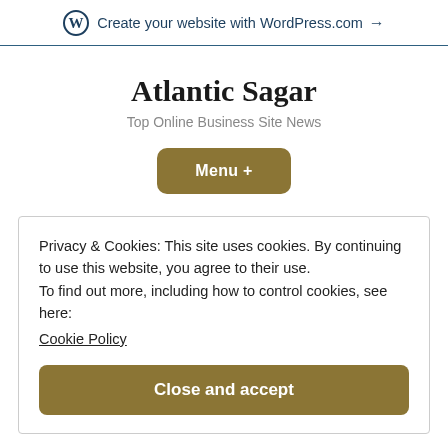Create your website with WordPress.com →
Atlantic Sagar
Top Online Business Site News
Menu +
Privacy & Cookies: This site uses cookies. By continuing to use this website, you agree to their use.
To find out more, including how to control cookies, see here:
Cookie Policy
Close and accept
specifically if you are actually utilizing innovative